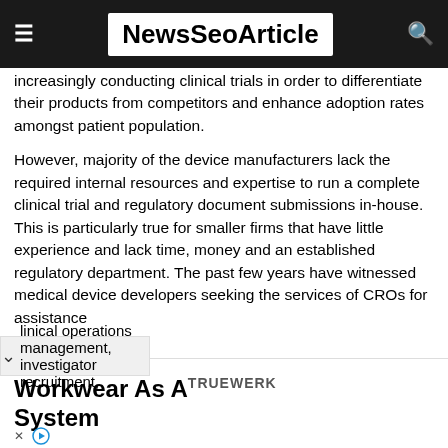NewsSeoArticle
increasingly conducting clinical trials in order to differentiate their products from competitors and enhance adoption rates amongst patient population.
However, majority of the device manufacturers lack the required internal resources and expertise to run a complete clinical trial and regulatory document submissions in-house. This is particularly true for smaller firms that have little experience and lack time, money and an established regulatory department. The past few years have witnessed medical device developers seeking the services of CROs for assistance linical operations management, investigator recruitment,
[Figure (other): Advertisement banner: Workwear As A System with TRUEWERK branding, close and play controls]